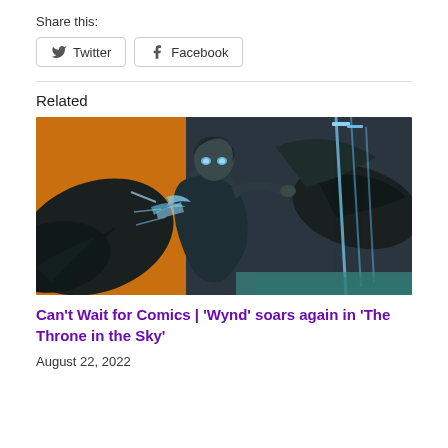Share this:
Twitter   Facebook
Related
[Figure (illustration): Comic book illustration of a dark-haired young character with glowing blue eyes and large black wings, flying against an orange background with blue light beams and swords]
Can't Wait for Comics | 'Wynd' soars again in 'The Throne in the Sky'
August 22, 2022